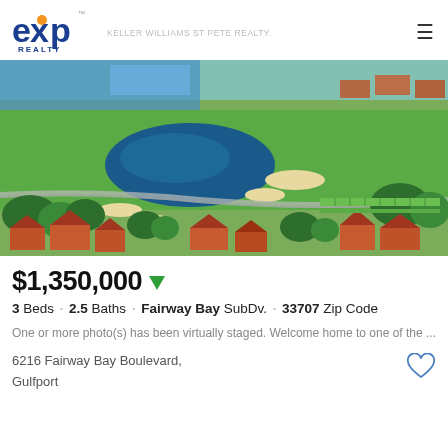eXp REALTY | KELLER WILLIAMS ST PETE REALTY.
[Figure (photo): Aerial view of a golf course community with a large blue pond, green fairways, sand bunkers, marina with boats in background, and surrounding residential homes with orange/red tile roofs and lush trees.]
$1,350,000
3 Beds · 2.5 Baths · Fairway Bay SubDv. · 33707 Zip Code
One or more photo(s) has been virtually staged. Welcome home to one of the ...
6216 Fairway Bay Boulevard, Gulfport